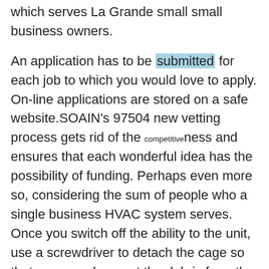which serves La Grande small small business owners.
An application has to be submitted for each job to which you would love to apply. On-line applications are stored on a safe website.SOAIN's 97504 new vetting process gets rid of the competitiveness and ensures that each wonderful idea has the possibility of funding. Perhaps even more so, considering the sum of people who a single business HVAC system serves. Once you switch off the ability to the unit, use a screwdriver to detach the cage so that you can clean out the debris from the computer system.
A true estate commission is not going to be covered by the State. When it has to do with